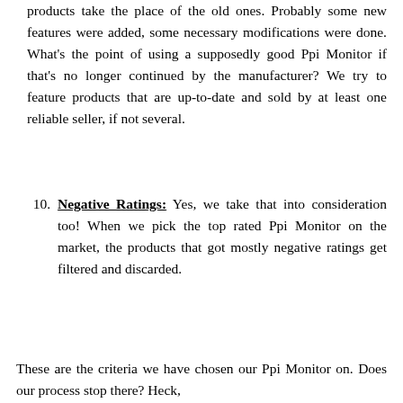products take the place of the old ones. Probably some new features were added, some necessary modifications were done. What’s the point of using a supposedly good Ppi Monitor if that’s no longer continued by the manufacturer? We try to feature products that are up-to-date and sold by at least one reliable seller, if not several.
10. Negative Ratings: Yes, we take that into consideration too! When we pick the top rated Ppi Monitor on the market, the products that got mostly negative ratings get filtered and discarded.
These are the criteria we have chosen our Ppi Monitor on. Does our process stop there? Heck,